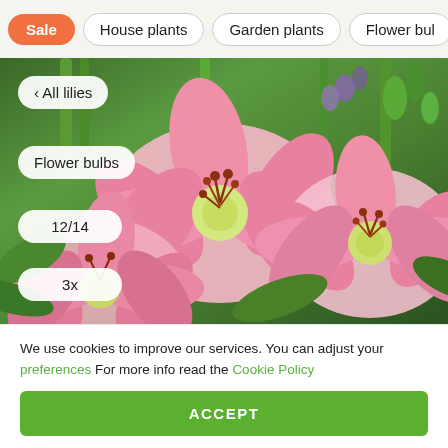Sale  House plants  Garden plants  Flower bulbs
[Figure (photo): Pink and white lily flowers in full bloom with green stems and purple flowers in background garden setting. Overlaid pill-shaped labels: '< All lilies', 'Flower bulbs', '12/14', '3x']
We use cookies to improve our services. You can adjust your preferences For more info read the Cookie Policy
ACCEPT